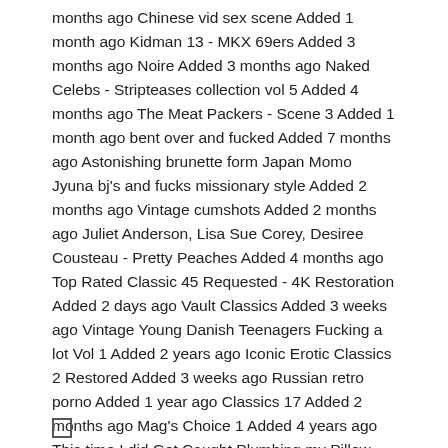months ago Chinese vid sex scene Added 1 month ago Kidman 13 - MKX 69ers Added 3 months ago Noire Added 3 months ago Naked Celebs - Stripteases collection vol 5 Added 4 months ago The Meat Packers - Scene 3 Added 1 month ago bent over and fucked Added 7 months ago Astonishing brunette form Japan Momo Jyuna bj's and fucks missionary style Added 2 months ago Vintage cumshots Added 2 months ago Juliet Anderson, Lisa Sue Corey, Desiree Cousteau - Pretty Peaches Added 4 months ago Top Rated Classic 45 Requested - 4K Restoration Added 2 days ago Vault Classics Added 3 weeks ago Vintage Young Danish Teenagers Fucking a lot Vol 1 Added 2 years ago Iconic Erotic Classics 2 Restored Added 3 weeks ago Russian retro porno Added 1 year ago Classics 17 Added 2 months ago Mag's Choice 1 Added 4 years ago This time I did Get Caught Plumbing my Pillow Added 3 months ago O Imperio do Desejo Added 1 month ago SF Added 2 years ago Missus Littles Dude Ranch american hairy nude nymphomaniac private.